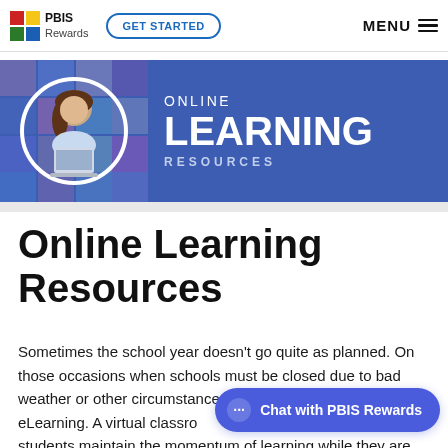[Figure (screenshot): PBIS Rewards logo with red/yellow/green flag icon and text 'PBIS Rewards']
[Figure (screenshot): Navigation bar with GET STARTED button and MENU hamburger icon]
[Figure (illustration): Blue banner with a circular photo of a smiling woman at a laptop, and text 'ONLINE LEARNING RESOURCES' in white on blue background]
Online Learning Resources
Sometimes the school year doesn't go quite as planned. On those occasions when schools must be closed due to bad weather or other circumstances, many schools must shift to eLearning. A virtual classroom can help students maintain the momentum of learning while they are
[Figure (screenshot): Chat widget button reading 'Chat with PBIS Rewards' in white text on purple/blue rounded pill button]